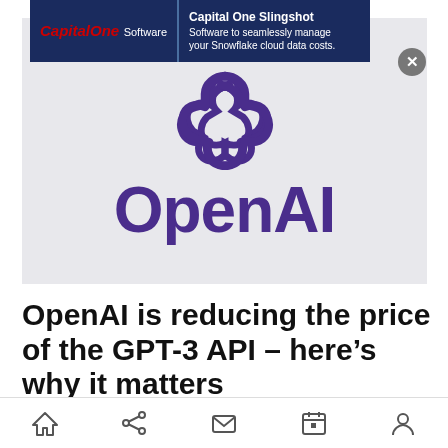[Figure (screenshot): Capital One Slingshot advertisement banner with dark navy background showing Capital One Software logo on left and text 'Capital One Slingshot - Software to seamlessly manage your Snowflake cloud data costs.' on right]
[Figure (logo): OpenAI logo — purple/dark violet stylized knot/flower symbol above the word 'OpenAI' in large purple bold text, on a light gray background]
OpenAI is reducing the price of the GPT-3 API – here's why it matters
Ben Dickson    August 25, 2022 8:57 AM
[Figure (infographic): Mobile app bottom navigation bar with home, share, mail, calendar, and profile icons]